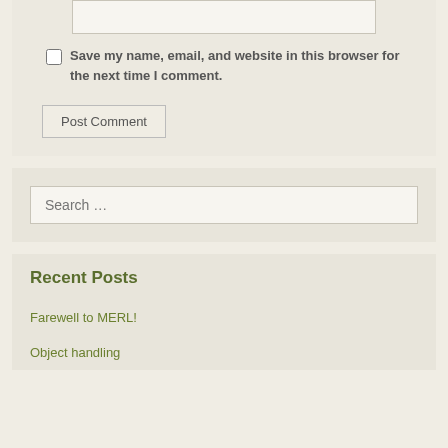Save my name, email, and website in this browser for the next time I comment.
Post Comment
Search …
Recent Posts
Farewell to MERL!
Object handling